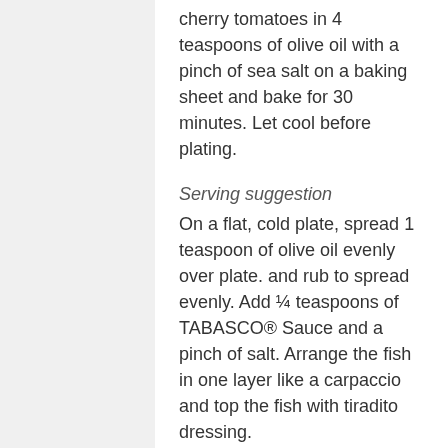cherry tomatoes in 4 teaspoons of olive oil with a pinch of sea salt on a baking sheet and bake for 30 minutes. Let cool before plating.
Serving suggestion
On a flat, cold plate, spread 1 teaspoon of olive oil evenly over plate. and rub to spread evenly. Add ¼ teaspoons of TABASCO® Sauce and a pinch of salt. Arrange the fish in one layer like a carpaccio and top the fish with tiradito dressing.
Add 3 cherry tomato halves and top with parmesan cheese. Add capers on top of the fish and